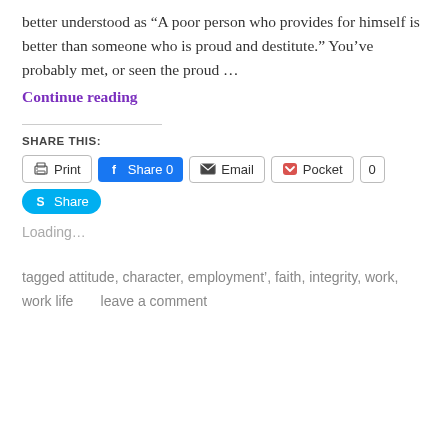better understood as “A poor person who provides for himself is better than someone who is proud and destitute.” You’ve probably met, or seen the proud …
Continue reading
SHARE THIS:
Print | Share 0 | Email | Pocket 0 | Share
Loading…
tagged attitude, character, employment', faith, integrity, work, work life      leave a comment